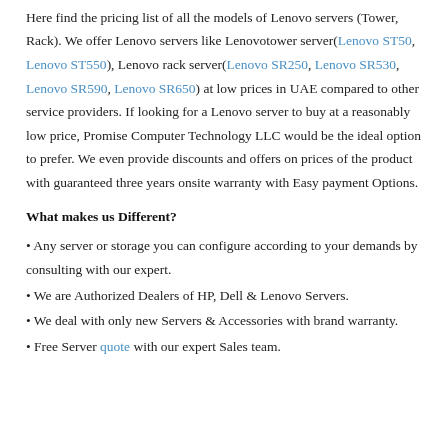organizations to enormous establishments. Here find the pricing list of all the models of Lenovo servers (Tower, Rack). We offer Lenovo servers like Lenovotower server(Lenovo ST50, Lenovo ST550), Lenovo rack server(Lenovo SR250, Lenovo SR530, Lenovo SR590, Lenovo SR650) at low prices in UAE compared to other service providers. If looking for a Lenovo server to buy at a reasonably low price, Promise Computer Technology LLC would be the ideal option to prefer. We even provide discounts and offers on prices of the product with guaranteed three years onsite warranty with Easy payment Options.
What makes us Different?
• Any server or storage you can configure according to your demands by consulting with our expert.
• We are Authorized Dealers of HP, Dell & Lenovo Servers.
• We deal with only new Servers & Accessories with brand warranty.
• Free Server quote with our expert Sales team.